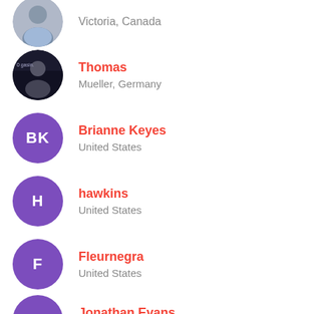Victoria, Canada
Thomas
Mueller, Germany
Brianne Keyes
United States
hawkins
United States
Fleurnegra
United States
Jonathan Evans
Costa Rica